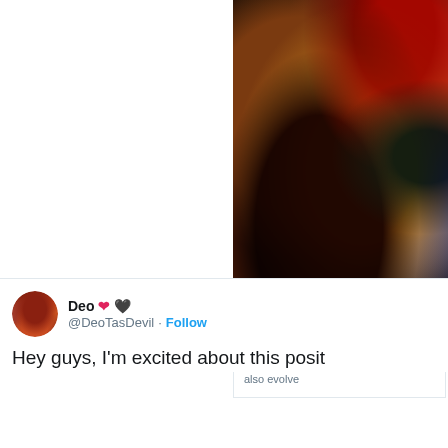[Figure (photo): Partial view of a fursuit/costume character with golden-brown fur, against a dark background with colorful elements including red and blue]
furaffinity.net
5/15/18 - Fur Affinity COC 2.7 Updated -
As the international community comes to stand against hate, Fur Affinity has also evolve
Deo ❤🖤 @DeoTasDevil · Follow
Hey guys, I'm excited about this posit... · Sign up to view for Fur Affinity...